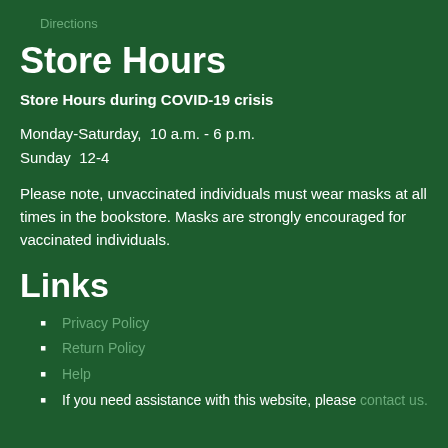Directions
Store Hours
Store Hours during COVID-19 crisis
Monday-Saturday,  10 a.m. - 6 p.m.
Sunday  12-4
Please note, unvaccinated individuals must wear masks at all times in the bookstore. Masks are strongly encouraged for vaccinated individuals.
Links
Privacy Policy
Return Policy
Help
If you need assistance with this website, please contact us.